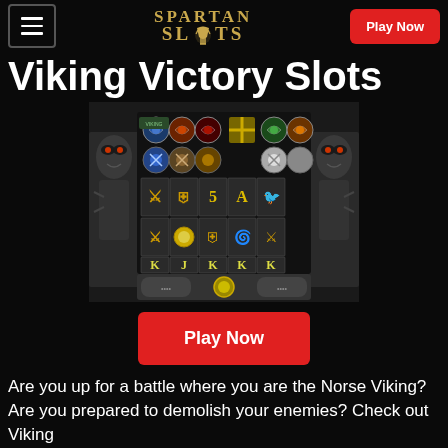Spartan Slots — Play Now
Viking Victory Slots
[Figure (screenshot): Viking Victory slot machine game screenshot showing 5 reels with Viking shield symbols, playing card letters K, J, A, and warrior symbols on a dark stone background with monster figures on the sides]
Play Now
Are you up for a battle where you are the Norse Viking? Are you prepared to demolish your enemies? Check out Viking